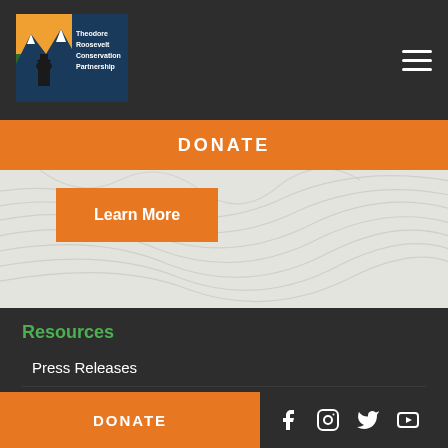[Figure (logo): Theodore Roosevelt Conservation Partnership logo — ranger figure with mountains, green and navy box with white text]
DONATE
Learn More
[Figure (illustration): Topographic contour lines pattern on light grey background]
Resources
Press Releases
Reports
TRCP Ambassador Program
DONATE
[Figure (other): Social media icons: Facebook, Instagram, Twitter/X, YouTube]